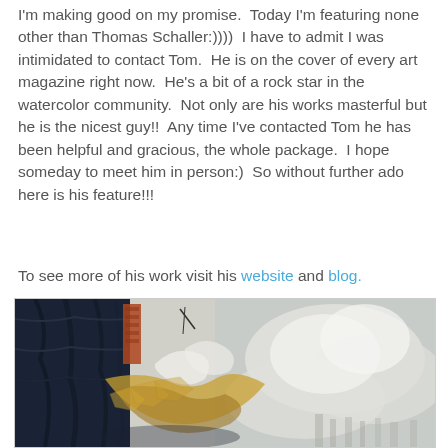I'm making good on my promise.  Today I'm featuring none other than Thomas Schaller:))))  I have to admit I was intimidated to contact Tom.  He is on the cover of every art magazine right now.  He's a bit of a rock star in the watercolor community.  Not only are his works masterful but he is the nicest guy!!  Any time I've contacted Tom he has been helpful and gracious, the whole package.  I hope someday to meet him in person:)  So without further ado here is his feature!!!
To see more of his work visit his website and blog.
[Figure (illustration): A watercolor painting showing a dark building or tree on the left side with deep blue-black tones, and a misty atmospheric cityscape on the right with pale grey and white clouds/steam, with golden/ochre elements in the middle foreground.]